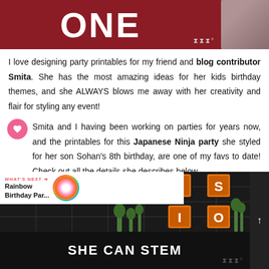[Figure (photo): Top portion of a party banner or shirt with text 'ONE' in white on dark red/maroon background, with an animal (possibly a cat) partially visible on the right side]
I love designing party printables for my friend and blog contributor Smita. She has the most amazing ideas for her kids birthday themes, and she ALWAYS blows me away with her creativity and flair for styling any event!
Smita and I having been working on parties for years now, and the printables for this Japanese Ninja party she styled for her son Sohan's 8th birthday, are one of my favs to date! Check out all the details she describes below.
[Figure (photo): Photo of a Japanese Ninja party decoration — a dark grid/lattice display with orange tile letters spelling NISO (N, I on left column; S, O on right column), surrounded by green plants]
[Figure (photo): SHE CAN STEM advertisement banner — black background with white bold text reading 'SHE CAN STEM']